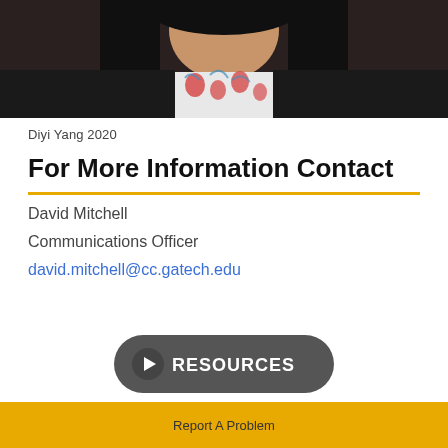[Figure (photo): Portrait photo of Diyi Yang, showing a person with long dark hair wearing a floral top and dark jacket, cropped at shoulder level]
Diyi Yang 2020
For More Information Contact
David Mitchell
Communications Officer
david.mitchell@cc.gatech.edu
[Figure (other): RESOURCES button with arrow icon on dark rounded rectangle background]
Report A Problem